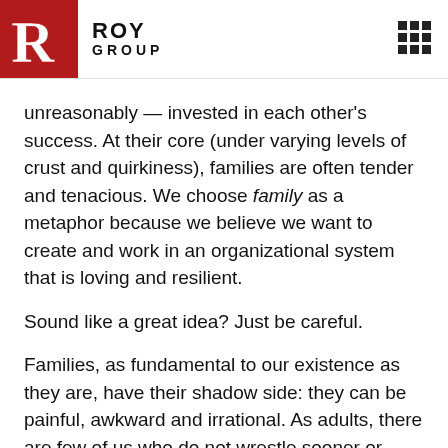ROY GROUP
unreasonably — invested in each other's success. At their core (under varying levels of crust and quirkiness), families are often tender and tenacious. We choose family as a metaphor because we believe we want to create and work in an organizational system that is loving and resilient.
Sound like a great idea? Just be careful.
Families, as fundamental to our existence as they are, have their shadow side: they can be painful, awkward and irrational. As adults, there are few of us who do not wrestle sooner or later with family-of-origin issues, the barrage of hang-ups, fears and mental models, authority